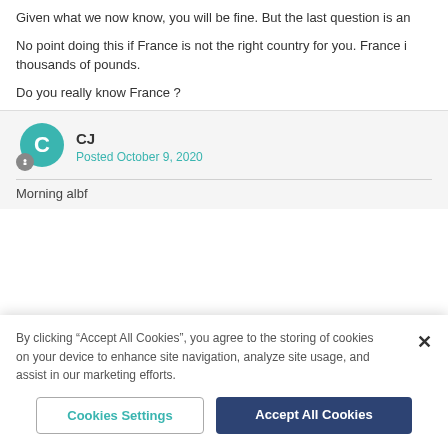Given what we now know, you will be fine. But the last question is an
No point doing this if France is not the right country for you. France i thousands of pounds.
Do you really know France ?
CJ
Posted October 9, 2020
Morning albf
By clicking “Accept All Cookies”, you agree to the storing of cookies on your device to enhance site navigation, analyze site usage, and assist in our marketing efforts.
Cookies Settings
Accept All Cookies